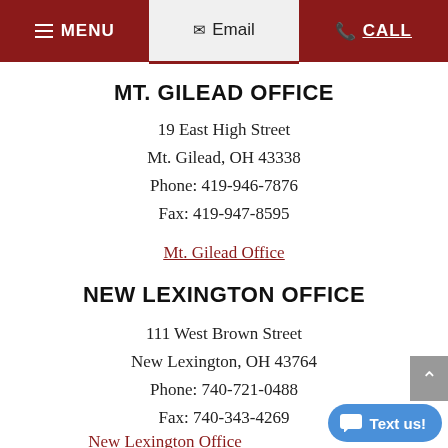MENU  Email  CALL
MT. GILEAD OFFICE
19 East High Street
Mt. Gilead, OH 43338
Phone: 419-946-7876
Fax: 419-947-8595
Mt. Gilead Office
NEW LEXINGTON OFFICE
111 West Brown Street
New Lexington, OH 43764
Phone: 740-721-0488
Fax: 740-343-4269
New Lexington Office